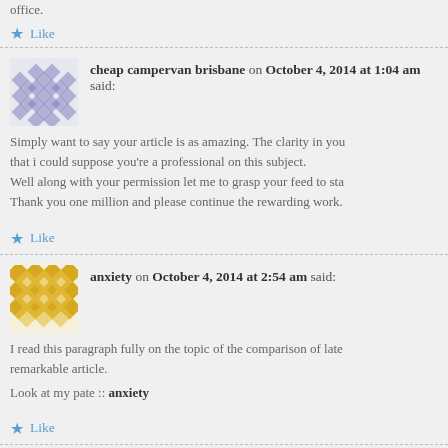office.
★ Like
cheap campervan brisbane on October 4, 2014 at 1:04 am said:
Simply want to say your article is as amazing. The clarity in you that i could suppose you're a professional on this subject. Well along with your permission let me to grasp your feed to sta Thank you one million and please continue the rewarding work.
★ Like
anxiety on October 4, 2014 at 2:54 am said:
I read this paragraph fully on the topic of the comparison of late remarkable article.
Look at my pate :: anxiety
★ Like
Health App on October 7, 2014 at 4:36 am said:
I'm not sure where you're getting your info, but great topic.